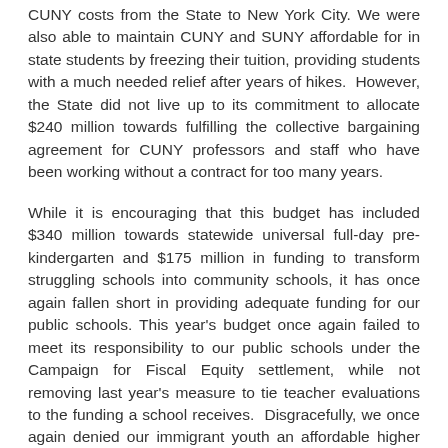CUNY costs from the State to New York City. We were also able to maintain CUNY and SUNY affordable for in state students by freezing their tuition, providing students with a much needed relief after years of hikes.  However, the State did not live up to its commitment to allocate $240 million towards fulfilling the collective bargaining agreement for CUNY professors and staff who have been working without a contract for too many years.
While it is encouraging that this budget has included $340 million towards statewide universal full-day pre-kindergarten and $175 million in funding to transform struggling schools into community schools, it has once again fallen short in providing adequate funding for our public schools. This year's budget once again failed to meet its responsibility to our public schools under the Campaign for Fiscal Equity settlement, while not removing last year's measure to tie teacher evaluations to the funding a school receives.  Disgracefully, we once again denied our immigrant youth an affordable higher education by omitting the Dream Act."
This is a budget that all New Yorkers can be proud of, as it contains solid measures that will benefit millions all across our State. However, the lack of transparency during the process of putting it together is the absolute opposite of the way a democratic budgeting process should be conducted.